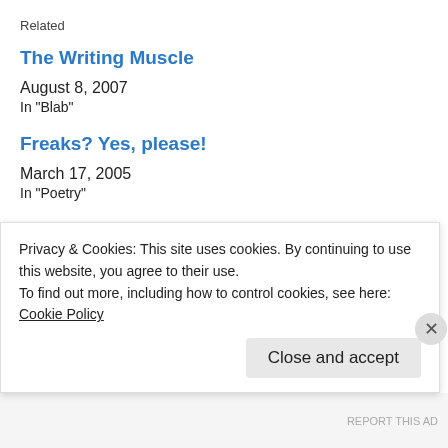Related
The Writing Muscle
August 8, 2007
In "Blab"
Freaks? Yes, please!
March 17, 2005
In "Poetry"
Pink Strip
March 31, 2005
Privacy & Cookies: This site uses cookies. By continuing to use this website, you agree to their use.
To find out more, including how to control cookies, see here:
Cookie Policy
Close and accept